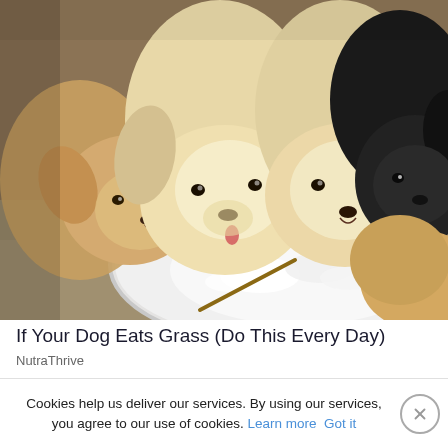[Figure (photo): Three puppies eating from a white plate filled with white creamy food, viewed from above. Two light-cream/blonde puppies and one black puppy with a tan puppy on the right. Set on a sandy/dirt ground.]
If Your Dog Eats Grass (Do This Every Day)
NutraThrive
Cookies help us deliver our services. By using our services, you agree to our use of cookies. Learn more Got it